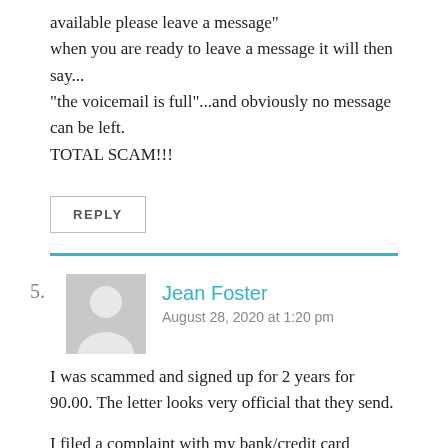available please leave a message" when you are ready to leave a message it will then say... "the voicemail is full"...and obviously no message can be left. TOTAL SCAM!!!
REPLY
Jean Foster
August 28, 2020 at 1:20 pm
I was scammed and signed up for 2 years for 90.00. The letter looks very official that they send.
I filed a complaint with my bank/credit card